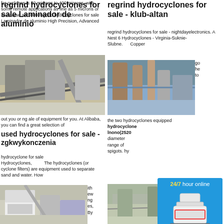for cyclones is 40 microns to 400 microns, with some remote applications as fine as 5 microns or as coarse as 1000 regrind hydrocyclones for sale Laminador de aluminio High Precision, Advanced
regrind hydrocyclones for sale Laminador de aluminio
[Figure (photo): Mining conveyor belt equipment at quarry site]
out you or ng ale of equipment for you. At Alibaba, you can find a great selection of
used hydrocyclones for sale - zgkwykonczenia
hydrocyclone for sale Hydrocyclones, The hydrocyclones (or cyclone filters) are equipment used to separate sand and water. How
[Figure (photo): Industrial mining machinery with excavator]
ith ew ng es, By
regrind hydrocyclones for sale - klub-altan
regrind hydrocyclones for sale - nightdayelectronics. A Nest 6 Hydrocyclones - Virginia-Suknie-Slubne. Copper
go he to
[Figure (photo): Industrial plant with silos and pipes]
the two hydrocyclones equipped hydrocyclone lnono(2520 diameter range of spigots. hy
[Figure (infographic): 24/7 hour online chat widget with crusher machine image, Click me to chat button, Enquiry section, and limingjlmofen username]
[Figure (photo): Quarry or mining site aerial view]